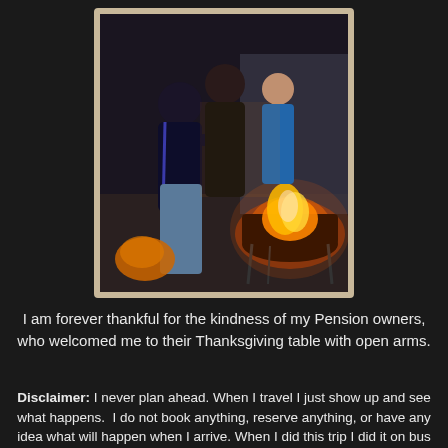[Figure (photo): Polaroid-style photo with cream/tan border showing people gathered around an outdoor fire pit or grill with bright orange flames visible. People are standing and appear to be cooking outdoors at night or dusk.]
I am forever thankful for the kindness of my Pension owners, who welcomed me to their Thanksgiving table with open arms.
Disclaimer: I never plan ahead. When I travel I just show up and see what happens. I do not book anything, reserve anything, or have any idea what will happen when I arrive. When I did this trip I did it on bus and could not really speak